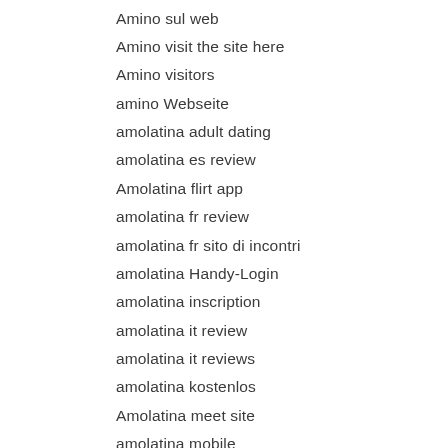Amino sul web
Amino visit the site here
Amino visitors
amino Webseite
amolatina adult dating
amolatina es review
Amolatina flirt app
amolatina fr review
amolatina fr sito di incontri
amolatina Handy-Login
amolatina inscription
amolatina it review
amolatina it reviews
amolatina kostenlos
Amolatina meet site
amolatina mobile
Amolatina rencontre fran?aise
amolatina review